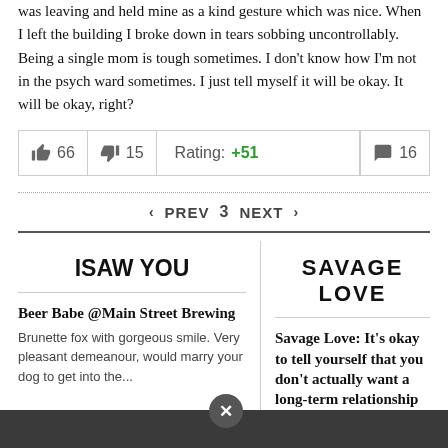was leaving and held mine as a kind gesture which was nice. When I left the building I broke down in tears sobbing uncontrollably. Being a single mom is tough sometimes. I don't know how I'm not in the psych ward sometimes. I just tell myself it will be okay. It will be okay, right?
| 👍 66 | 👎 15 | Rating: +51 | 💬 16 |
| --- | --- | --- | --- |
‹ PREV  3  NEXT ›
[Figure (logo): I SAW YOU logo in bold sans-serif]
Beer Babe @Main Street Brewing
Brunette fox with gorgeous smile. Very pleasant demeanour, would marry your dog to get into the...
[Figure (logo): SAVAGE LOVE logo in bold uppercase sans-serif]
Savage Love: It's okay to tell yourself that you don't actually want a long-term relationship
Dan offers advice to a woman who always ends up alone due to